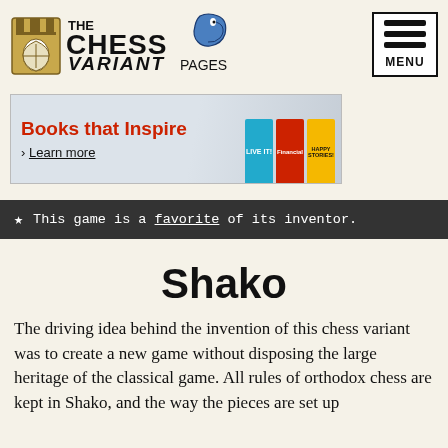The Chess Variant Pages
[Figure (illustration): The Chess Variant Pages logo with a rook and knight icon and decorative text]
[Figure (infographic): Advertisement banner: Books that Inspire, Learn more, with colorful book covers]
★  This game is a favorite of its inventor.
Shako
The driving idea behind the invention of this chess variant was to create a new game without disposing the large heritage of the classical game. All rules of orthodox chess are kept in Shako, and the way the pieces are set up